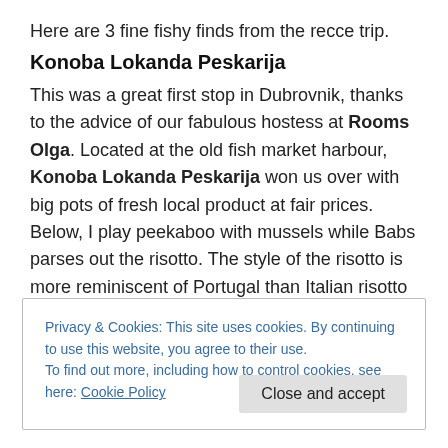Here are 3 fine fishy finds from the recce trip.
Konoba Lokanda Peskarija
This was a great first stop in Dubrovnik, thanks to the advice of our fabulous hostess at Rooms Olga. Located at the old fish market harbour, Konoba Lokanda Peskarija won us over with big pots of fresh local product at fair prices. Below, I play peekaboo with mussels while Babs parses out the risotto. The style of the risotto is more reminiscent of Portugal than Italian risotto or Spanish
Privacy & Cookies: This site uses cookies. By continuing to use this website, you agree to their use.
To find out more, including how to control cookies, see here: Cookie Policy